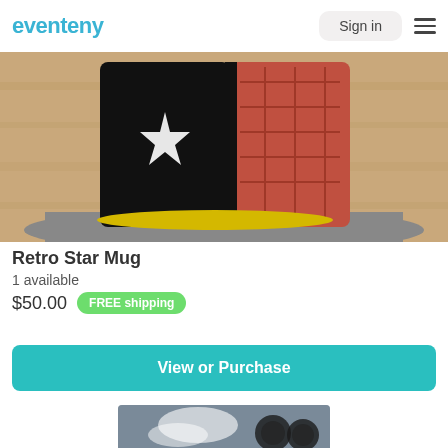eventeny | Sign in
[Figure (photo): Close-up photo of a Retro Star Mug — a ceramic mug with black glaze, a white star design, and red/pink textured panels, sitting on a gray platform with a wooden background.]
Retro Star Mug
1 available
$50.00  FREE shipping
View or Purchase
[Figure (photo): Black and white photo partially visible at the bottom of the page, showing what appears to be an animal or creature with feathers and dark circular objects.]